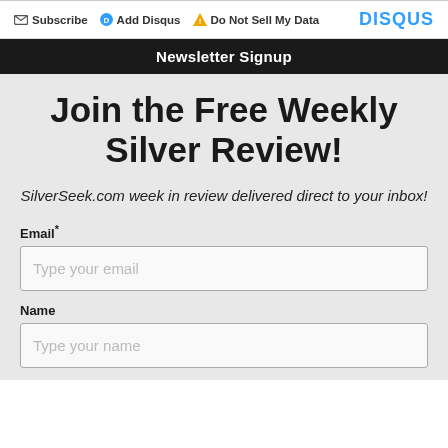Subscribe  Add Disqus  Do Not Sell My Data  DISQUS
Newsletter Signup
Join the Free Weekly Silver Review!
SilverSeek.com week in review delivered direct to your inbox!
Email*
Type your email
Name
Type your name